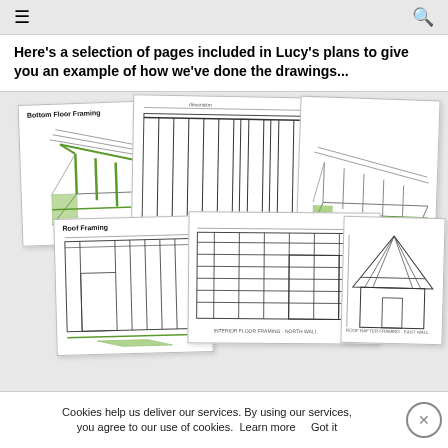≡  🔍
Here's a selection of pages included in Lucy's plans to give you an example of how we've done the drawings...
[Figure (engineering-diagram): Collection of building plan drawings showing Bottom Floor Framing (3D isometric view with green framing members), top floor framing elevation, roof framing 3D view, interior floor framing north wall elevation, and roof framing east wall elevation diagrams for a small building structure.]
Cookies help us deliver our services. By using our services, you agree to our use of cookies.  Learn more     Got it